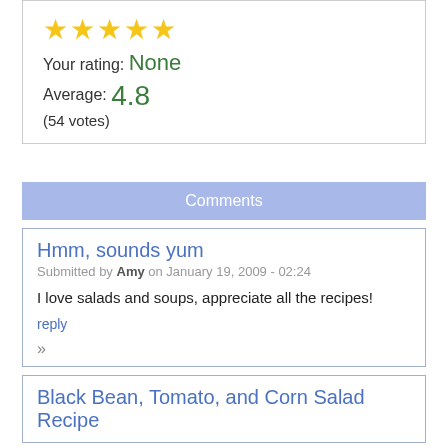★★★★★ Your rating: None Average: 4.8 (54 votes)
Comments
Hmm, sounds yum
Submitted by Amy on January 19, 2009 - 02:24
I love salads and soups, appreciate all the recipes!
reply
»
Black Bean, Tomato, and Corn Salad Recipe